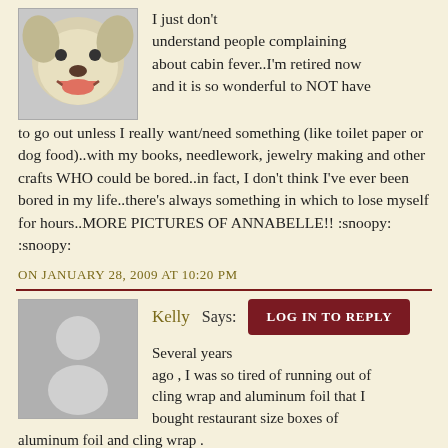I just don't understand people complaining about cabin fever..I'm retired now and it is so wonderful to NOT have to go out unless I really want/need something (like toilet paper or dog food)..with my books, needlework, jewelry making and other crafts WHO could be bored..in fact, I don't think I've ever been bored in my life..there's always something in which to lose myself for hours..MORE PICTURES OF ANNABELLE!! :snoopy: :snoopy:
ON JANUARY 28, 2009 AT 10:20 PM
Kelly Says:
LOG IN TO REPLY
Several years ago , I was so tired of running out of cling wrap and aluminum foil that I bought restaurant size boxes of aluminum foil and cling wrap . The aluminum foil lasted about 5 years , we still have cling wrap , but the box it came in is falling apart .